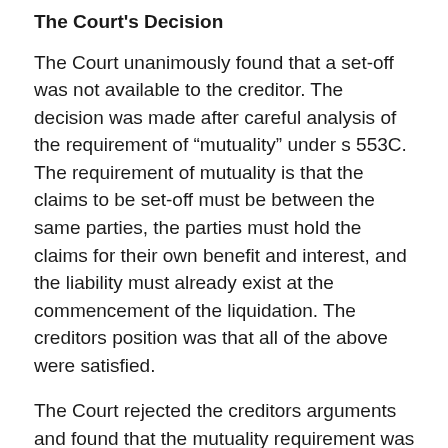The Court's Decision
The Court unanimously found that a set-off was not available to the creditor. The decision was made after careful analysis of the requirement of “mutuality” under s 553C. The requirement of mutuality is that the claims to be set-off must be between the same parties, the parties must hold the claims for their own benefit and interest, and the liability must already exist at the commencement of the liquidation. The creditors position was that all of the above were satisfied.
The Court rejected the creditors arguments and found that the mutuality requirement was not satisfied. They found that the right to seek repayment of a preference payment is not a